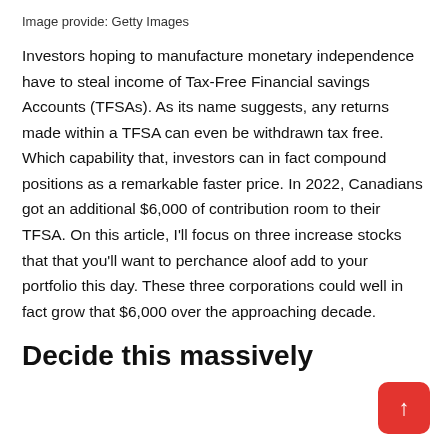Image provide: Getty Images
Investors hoping to manufacture monetary independence have to steal income of Tax-Free Financial savings Accounts (TFSAs). As its name suggests, any returns made within a TFSA can even be withdrawn tax free. Which capability that, investors can in fact compound positions as a remarkable faster price. In 2022, Canadians got an additional $6,000 of contribution room to their TFSA. On this article, I'll focus on three increase stocks that that you'll want to perchance aloof add to your portfolio this day. These three corporations could well in fact grow that $6,000 over the approaching decade.
Decide this massively